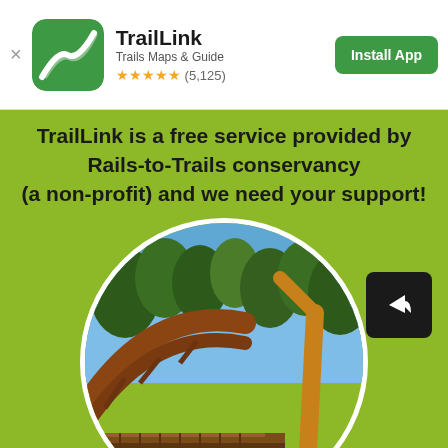TrailLink — Trails Maps & Guide — ★★★★★ (5,125) — Install App
TrailLink is a free service provided by Rails-to-Trails conservancy (a non-profit) and we need your support!
[Figure (photo): Circular photo of a trail bridge under construction with trees and blue sky in the background, overlaid with 'Make a Donation' text]